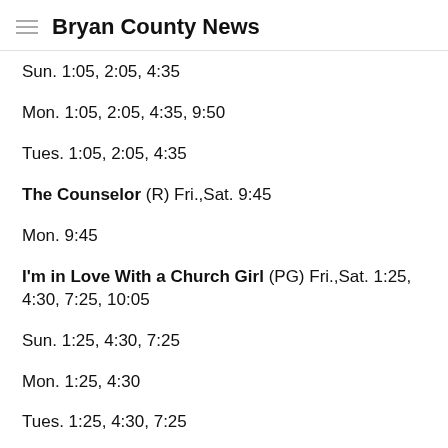Bryan County News
Sun. 1:05, 2:05, 4:35
Mon. 1:05, 2:05, 4:35, 9:50
Tues. 1:05, 2:05, 4:35
The Counselor (R) Fri.,Sat. 9:45
Mon. 9:45
I'm in Love With a Church Girl (PG) Fri.,Sat. 1:25, 4:30, 7:25, 10:05
Sun. 1:25, 4:30, 7:25
Mon. 1:25, 4:30
Tues. 1:25, 4:30, 7:25